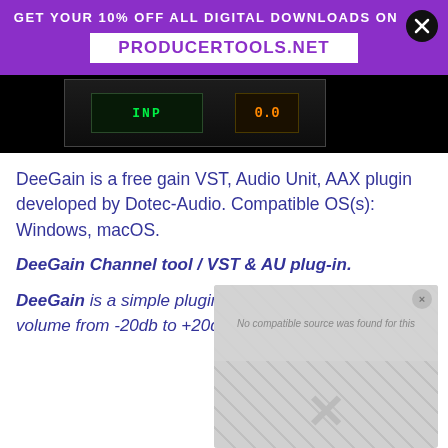GET YOUR 10% OFF ALL DIGITAL DOWNLOADS ON PRODUCERTOOLS.NET
[Figure (screenshot): Plugin interface screenshot showing a dark audio plugin with green and orange digital displays]
DeeGain is a free gain VST, Audio Unit, AAX plugin developed by Dotec-Audio. Compatible OS(s): Windows, macOS.
DeeGain Channel tool / VST & AU plug-in.
DeeGain is a simple plugin which controls the volume from -20db to +20db.
[Figure (screenshot): Video player overlay with 'No compatible source was found for this' message and an X close button, shown over a diamond-plate metallic background with audio equipment]